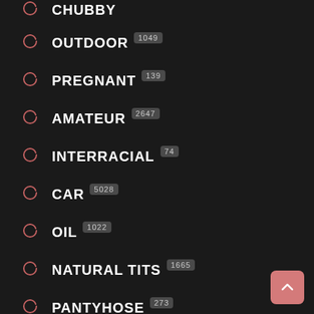CHUBBY
OUTDOOR 1049
PREGNANT 139
AMATEUR 2647
INTERRACIAL 74
CAR 5028
OIL 1022
NATURAL TITS 1665
PANTYHOSE 273
NAUGHTY 755